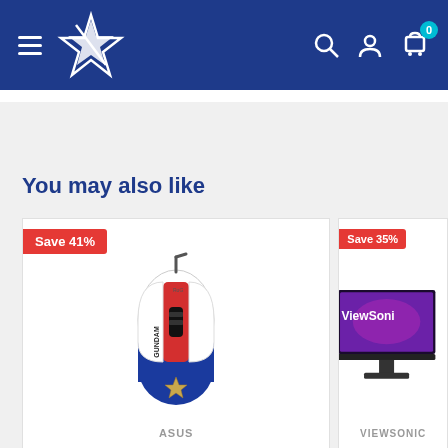Navigation header with hamburger menu, star logo, search icon, account icon, and cart with badge 0
You may also like
[Figure (photo): Product card for ASUS gaming mouse (Gundam edition) with Save 41% badge. White, red and blue colored wired mouse with Gundam branding.]
ASUS
[Figure (photo): Partial product card for ViewSonic monitor with Save 35% badge. Monitor displaying purple background with ViewSonic logo.]
VIEWSONIC